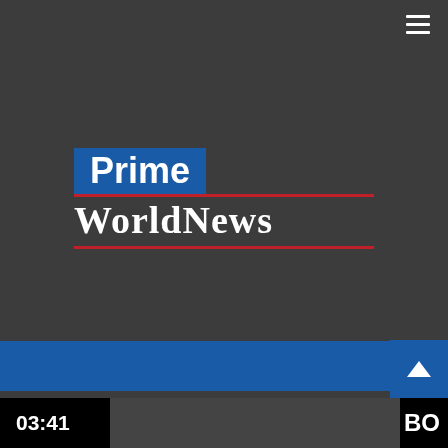[Figure (logo): Prime WorldNews logo — 'Prime' in white bold sans-serif on a blue rectangle background, 'WorldNews' in white serif below, with red horizontal lines separating the two words]
SEARCH ...
HOME > SPORTS > Warriors reach fourth straight Western Conference finals
03:41
BO